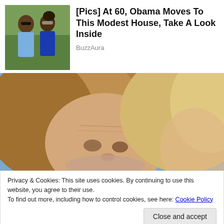[Figure (photo): Thumbnail photo of two people (man and woman) standing outdoors with greenery background]
[Pics] At 60, Obama Moves To This Modest House, Take A Look Inside
BuzzAura
[Figure (photo): Close-up photo of two elderly people with light brown/blonde hair, faces close together, blue sky background]
Privacy & Cookies: This site uses cookies. By continuing to use this website, you agree to their use.
To find out more, including how to control cookies, see here: Cookie Policy
Close and accept
[Pics] Robert Redford Is Nearing 90 & This Is